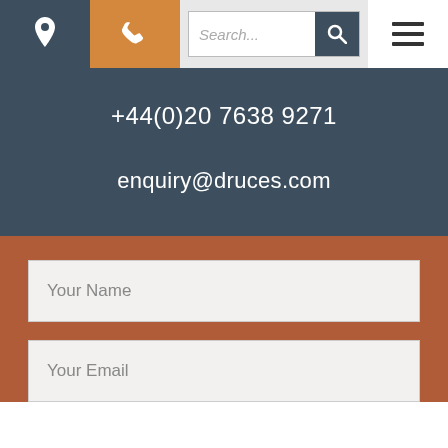Navigation bar with location icon, phone icon (orange background), search field, and hamburger menu
+44(0)20 7638 9271
enquiry@druces.com
Your Name
Your Email